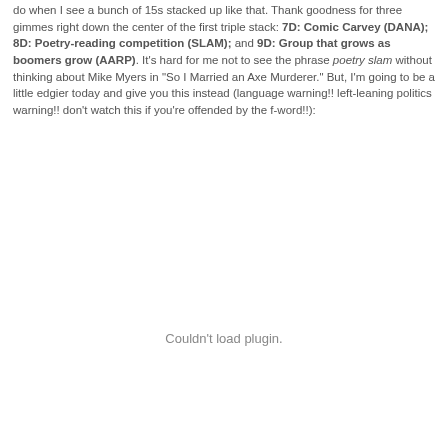do when I see a bunch of 15s stacked up like that. Thank goodness for three gimmes right down the center of the first triple stack: 7D: Comic Carvey (DANA); 8D: Poetry-reading competition (SLAM); and 9D: Group that grows as boomers grow (AARP). It's hard for me not to see the phrase poetry slam without thinking about Mike Myers in "So I Married an Axe Murderer." But, I'm going to be a little edgier today and give you this instead (language warning!! left-leaning politics warning!! don't watch this if you're offended by the f-word!!):
Couldn't load plugin.